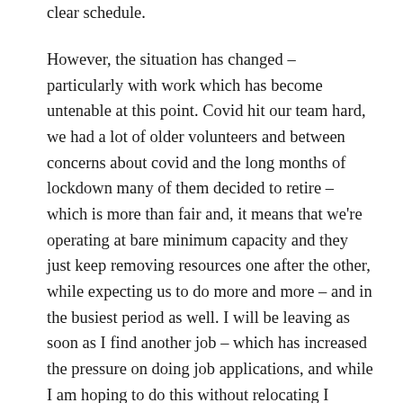clear schedule.
However, the situation has changed – particularly with work which has become untenable at this point. Covid hit our team hard, we had a lot of older volunteers and between concerns about covid and the long months of lockdown many of them decided to retire – which is more than fair and, it means that we're operating at bare minimum capacity and they just keep removing resources one after the other, while expecting us to do more and more – and in the busiest period as well. I will be leaving as soon as I find another job – which has increased the pressure on doing job applications, and while I am hoping to do this without relocating I haven't taken it off the table although I love where I live...